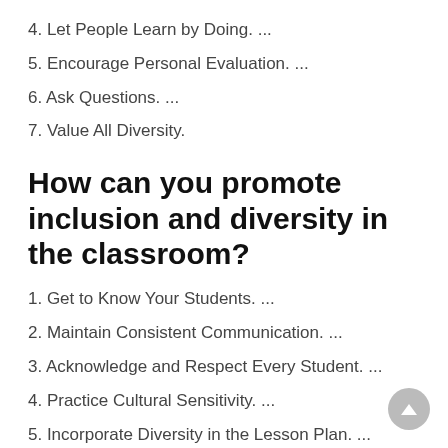4. Let People Learn by Doing. ...
5. Encourage Personal Evaluation. ...
6. Ask Questions. ...
7. Value All Diversity.
How can you promote inclusion and diversity in the classroom?
1. Get to Know Your Students. ...
2. Maintain Consistent Communication. ...
3. Acknowledge and Respect Every Student. ...
4. Practice Cultural Sensitivity. ...
5. Incorporate Diversity in the Lesson Plan. ...
6. Give Students Freedom and Flexibility.